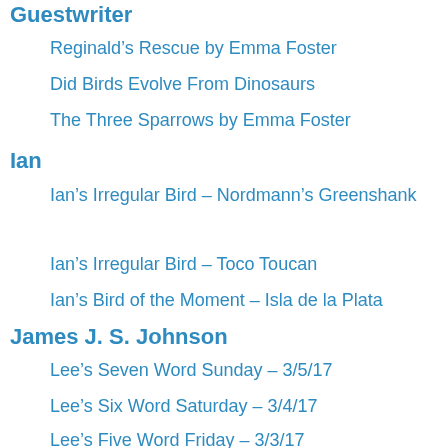Guestwriter
Reginald's Rescue by Emma Foster
Did Birds Evolve From Dinosaurs
The Three Sparrows by Emma Foster
Ian
Ian's Irregular Bird – Nordmann's Greenshank
Ian's Irregular Bird – Toco Toucan
Ian's Bird of the Moment – Isla de la Plata
James J. S. Johnson
Lee's Seven Word Sunday – 3/5/17
Lee's Six Word Saturday – 3/4/17
Lee's Five Word Friday – 3/3/17